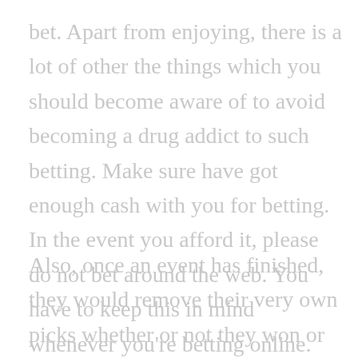bet. Apart from enjoying, there is a lot of other the things which you should become aware of to avoid becoming a drug addict to such betting. Make sure have got enough cash with you for betting. In the event you afford it, please do not bet around the web. You have to keep this in mind whenever you're betting online.
[Figure (illustration): Two overlapping circles — one salmon/coral colored on the left and one dark gray on the right]
Also, once an event has finished, they would remove their very own picks whether or not they won or lost. This made challenging to actually keep record if the site is creating a profit not